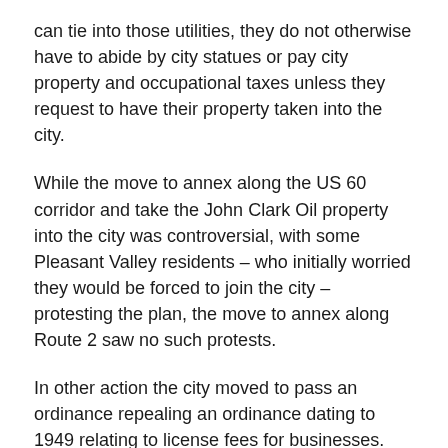can tie into those utilities, they do not otherwise have to abide by city statues or pay city property and occupational taxes unless they request to have their property taken into the city.
While the move to annex along the US 60 corridor and take the John Clark Oil property into the city was controversial, with some Pleasant Valley residents – who initially worried they would be forced to join the city – protesting the plan, the move to annex along Route 2 saw no such protests.
In other action the city moved to pass an ordinance repealing an ordinance dating to 1949 relating to license fees for businesses. Ordinance 2020-02 repealed ordinance 1949-46, which was found to be in conflict with the Kentucky Revised Statutes and other city ordinances related to business licensing.